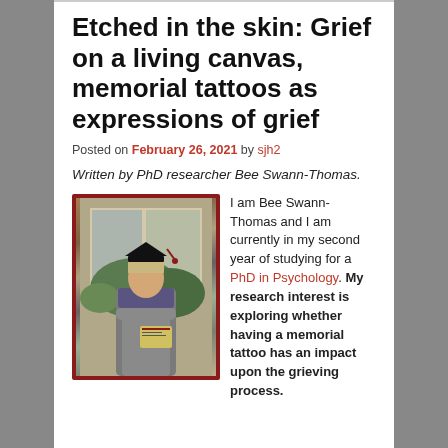Etched in the skin: Grief on a living canvas, memorial tattoos as expressions of grief
Posted on February 26, 2021 by sjh2
Written by PhD researcher Bee Swann-Thomas.
[Figure (photo): Photo of a woman in graduation cap and gown holding a diploma, with a red border frame]
I am Bee Swann-Thomas and I am currently in my second year of studying for a PhD in Psychology. My research interest is exploring whether having a memorial tattoo has an impact upon the grieving process.